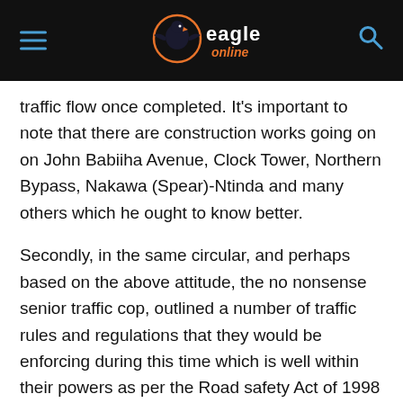Eagle Online
traffic flow once completed. It’s important to note that there are construction works going on on John Babiiha Avenue, Clock Tower, Northern Bypass, Nakawa (Spear)-Ntinda and many others which he ought to know better.
Secondly, in the same circular, and perhaps based on the above attitude, the no nonsense senior traffic cop, outlined a number of traffic rules and regulations that they would be enforcing during this time which is well within their powers as per the Road safety Act of 1998 as Amended. However, there was an insensitive guideline given the situation. The move to impound all those vehicles which have not cleared their outstanding express penalty receipts. At a time when people have been under lock down for over two months, I found this “welcome” to